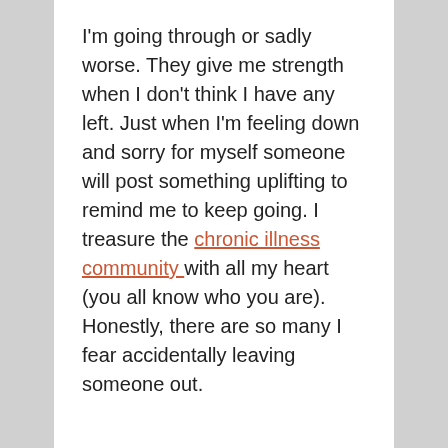I'm going through or sadly worse. They give me strength when I don't think I have any left. Just when I'm feeling down and sorry for myself someone will post something uplifting to remind me to keep going. I treasure the chronic illness community with all my heart (you all know who you are). Honestly, there are so many I fear accidentally leaving someone out.